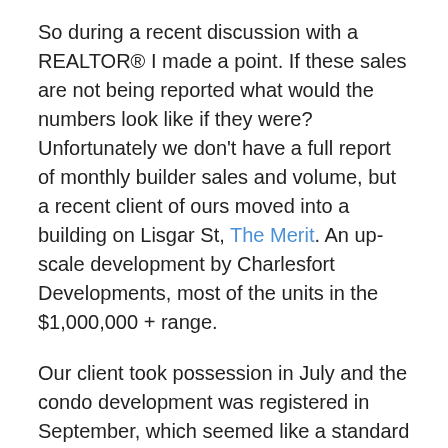So during a recent discussion with a REALTOR® I made a point.  If these sales are not being reported what would the numbers look like if they were?  Unfortunately we don't have a full report of monthly builder sales and volume, but a recent client of ours moved into a building on Lisgar St, The Merit.  An up-scale development by Charlesfort Developments, most of the units in the $1,000,000 + range.
Our client took possession in July and the condo development was registered in September, which seemed like a standard closing period, so if we added The Merit Condos to July's real estate numbers what would they look like.
Unaltered there were 262 condominium sales in July 2014 for a total value of $68,555,630 (8.5 % lower than 2013)